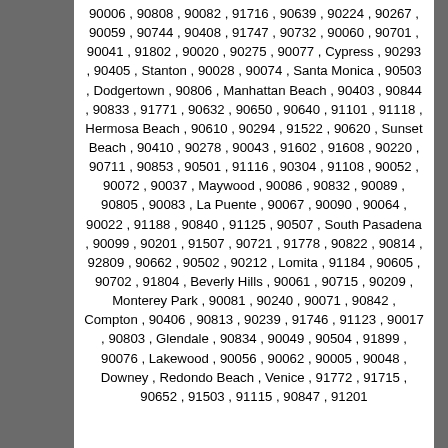90006 , 90808 , 90082 , 91716 , 90639 , 90224 , 90267 , 90059 , 90744 , 90408 , 91747 , 90732 , 90060 , 90701 , 90041 , 91802 , 90020 , 90275 , 90077 , Cypress , 90293 , 90405 , Stanton , 90028 , 90074 , Santa Monica , 90503 , Dodgertown , 90806 , Manhattan Beach , 90403 , 90844 , 90833 , 91771 , 90632 , 90650 , 90640 , 91101 , 91118 , Hermosa Beach , 90610 , 90294 , 91522 , 90620 , Sunset Beach , 90410 , 90278 , 90043 , 91602 , 91608 , 90220 , 90711 , 90853 , 90501 , 91116 , 90304 , 91108 , 90052 , 90072 , 90037 , Maywood , 90086 , 90832 , 90089 , 90805 , 90083 , La Puente , 90067 , 90090 , 90064 , 90022 , 91188 , 90840 , 91125 , 90507 , South Pasadena , 90099 , 90201 , 91507 , 90721 , 91778 , 90822 , 90814 , 92809 , 90662 , 90502 , 90212 , Lomita , 91184 , 90605 , 90702 , 91804 , Beverly Hills , 90061 , 90715 , 90209 , Monterey Park , 90081 , 90240 , 90071 , 90842 , Compton , 90406 , 90813 , 90239 , 91746 , 91123 , 90017 , 90803 , Glendale , 90834 , 90049 , 90504 , 91899 , 90076 , Lakewood , 90056 , 90062 , 90005 , 90048 , Downey , Redondo Beach , Venice , 91772 , 91715 , 90652 , 91503 , 91115 , 90847 , 91201